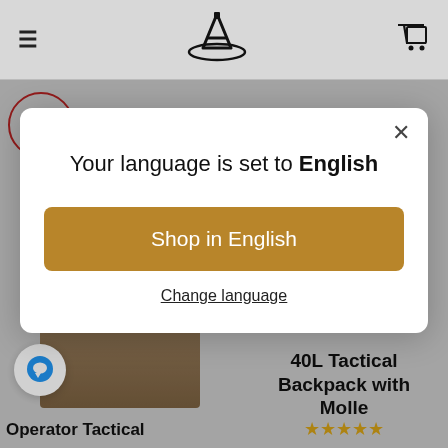[Figure (screenshot): Website navigation bar with hamburger menu icon, stylized 'A' logo in center, and shopping cart icon on right]
[Figure (other): SAVE badge circle with red border]
[Figure (infographic): Modal dialog box on e-commerce site. Title: 'Your language is set to English'. Button: 'Shop in English'. Link: 'Change language'. Close X button in top right.]
Your language is set to English
Shop in English
Change language
40L Tactical Backpack with Molle
Operator Tactical